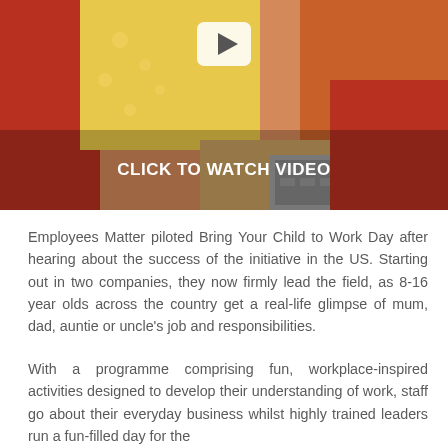[Figure (photo): Photo of a woman in a red top holding a child in a yellow floral dress, with a laptop keyboard visible in the foreground. A play button overlay and 'CLICK TO WATCH VIDEO' text appear over the image.]
Employees Matter piloted Bring Your Child to Work Day after hearing about the success of the initiative in the US. Starting out in two companies, they now firmly lead the field, as 8-16 year olds across the country get a real-life glimpse of mum, dad, auntie or uncle's job and responsibilities.
With a programme comprising fun, workplace-inspired activities designed to develop their understanding of work, staff go about their everyday business whilst highly trained leaders run a fun-filled day for the